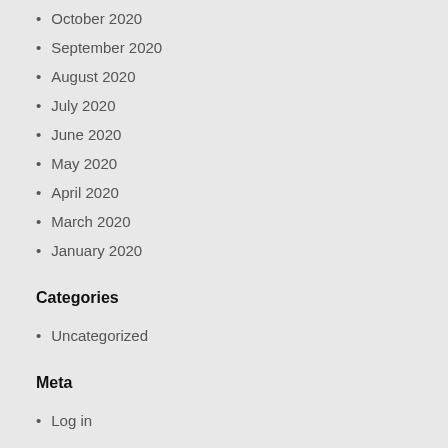October 2020
September 2020
August 2020
July 2020
June 2020
May 2020
April 2020
March 2020
January 2020
Categories
Uncategorized
Meta
Log in